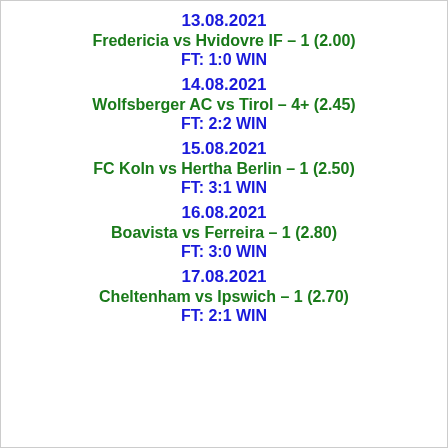13.08.2021
Fredericia vs Hvidovre IF – 1 (2.00)
FT: 1:0 WIN
14.08.2021
Wolfsberger AC vs Tirol – 4+ (2.45)
FT: 2:2 WIN
15.08.2021
FC Koln vs Hertha Berlin – 1 (2.50)
FT: 3:1 WIN
16.08.2021
Boavista vs Ferreira – 1 (2.80)
FT: 3:0 WIN
17.08.2021
Cheltenham vs Ipswich – 1 (2.70)
FT: 2:1 WIN